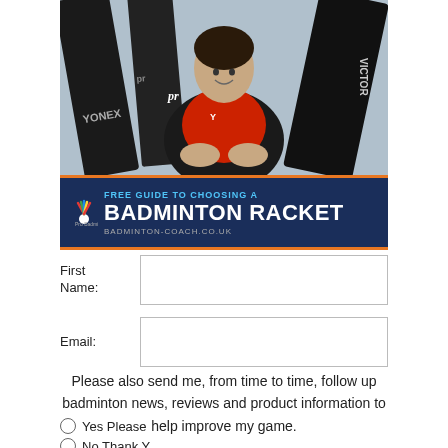[Figure (photo): A badminton player holding multiple rackets including Yonex, Prince, and Victor brands, wearing a red and black sports outfit]
FREE GUIDE TO CHOOSING A BADMINTON RACKET — BADMINTON-COACH.CO.UK
First Name:
Email:
Please also send me, from time to time, follow up badminton news, reviews and product information to help improve my game.
Yes Please
No Thank You